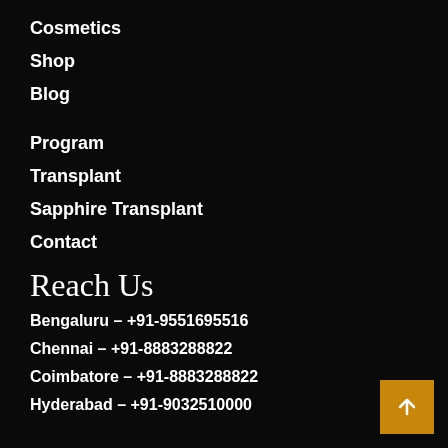Cosmetics
Shop
Blog
Program
Transplant
Sapphire Transplant
Contact
Reach Us
Bengaluru – +91-9551695516
Chennai –  +91-8883288822
Coimbatore –  +91-8883288822
Hyderabad – +91-9032510000